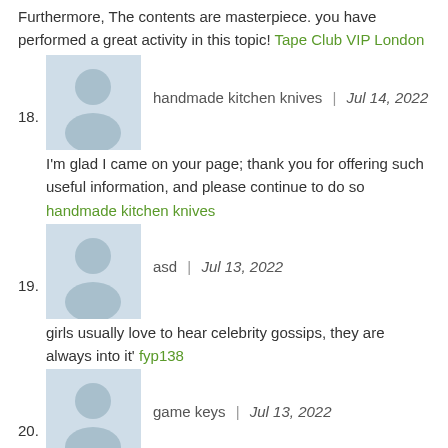Furthermore, The contents are masterpiece. you have performed a great activity in this topic! Tape Club VIP London
18. handmade kitchen knives | Jul 14, 2022 — I'm glad I came on your page; thank you for offering such useful information, and please continue to do so handmade kitchen knives
19. asd | Jul 13, 2022 — girls usually love to hear celebrity gossips, they are always into it' fyp138
20. game keys | Jul 13, 2022